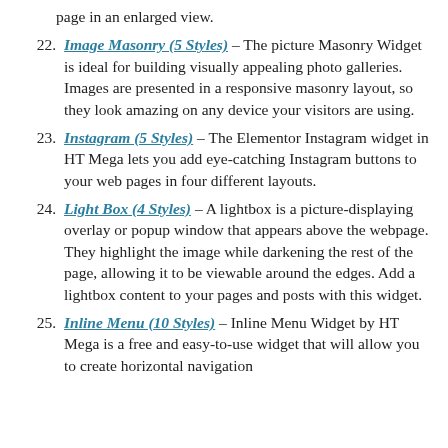page in an enlarged view.
Image Masonry (5 Styles) – The picture Masonry Widget is ideal for building visually appealing photo galleries. Images are presented in a responsive masonry layout, so they look amazing on any device your visitors are using.
Instagram (5 Styles) – The Elementor Instagram widget in HT Mega lets you add eye-catching Instagram buttons to your web pages in four different layouts.
Light Box (4 Styles) – A lightbox is a picture-displaying overlay or popup window that appears above the webpage. They highlight the image while darkening the rest of the page, allowing it to be viewable around the edges. Add a lightbox content to your pages and posts with this widget.
Inline Menu (10 Styles) – Inline Menu Widget by HT Mega is a free and easy-to-use widget that will allow you to create horizontal navigation